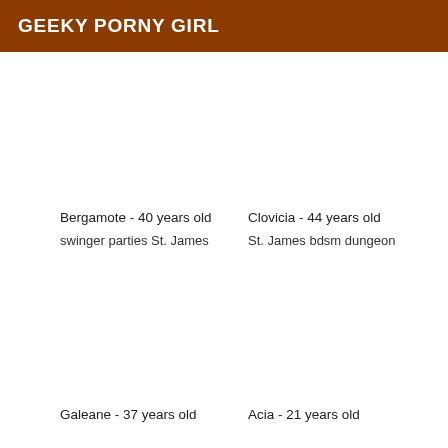GEEKY PORNY GIRL
Bergamote - 40 years old
swinger parties St. James
Clovicia - 44 years old
St. James bdsm dungeon
Galeane - 37 years old
Acia - 21 years old